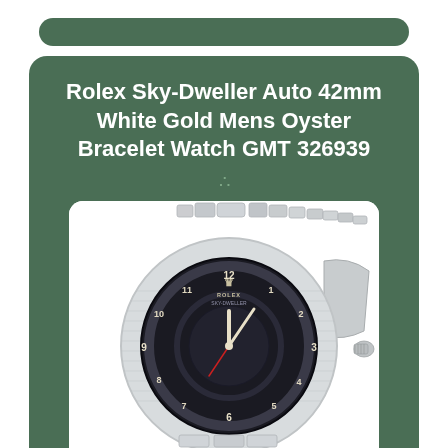Rolex Sky-Dweller Auto 42mm White Gold Mens Oyster Bracelet Watch GMT 326939
[Figure (photo): Rolex Sky-Dweller watch with black dial, white gold fluted bezel, and Oyster bracelet shown at an angle. The watch face shows Arabic numerals, Rolex crown logo, and a GMT subsidiary dial. An eBay watermark is visible at the bottom right.]